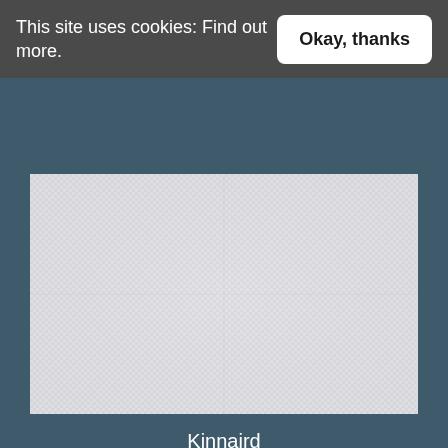This site uses cookies: Find out more.
Okay, thanks
[Figure (photo): Close-up of a woven fabric texture in light white/grey color, showing a fine grid weave pattern (Kinnaird 10 Feather fabric swatch)]
Kinnaird
10 Feather
DOWNLOAD SAMPLE